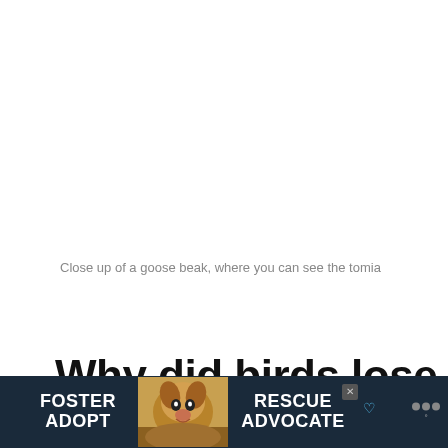Close up of a goose beak, where you can see the tomia
Why did birds lose their teeth?
[Figure (photo): Advertisement banner showing a dog with text FOSTER ADOPT RESCUE ADVOCATE on dark navy background]